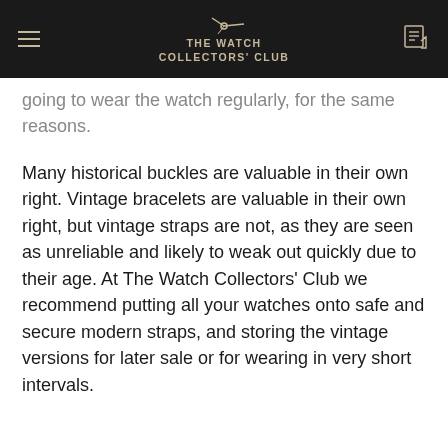THE WATCH COLLECTORS' CLUB
going to wear the watch regularly, for the same reasons.
Many historical buckles are valuable in their own right. Vintage bracelets are valuable in their own right, but vintage straps are not, as they are seen as unreliable and likely to weak out quickly due to their age. At The Watch Collectors' Club we recommend putting all your watches onto safe and secure modern straps, and storing the vintage versions for later sale or for wearing in very short intervals.